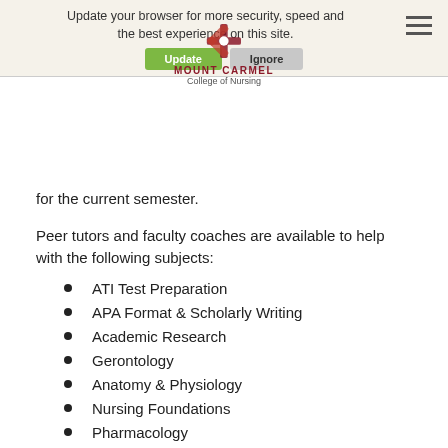Update your browser for more security, speed and the best experience on this site. [Update] [Ignore] | MOUNT CARMEL College of Nursing
for the current semester.
Peer tutors and faculty coaches are available to help with the following subjects:
ATI Test Preparation
APA Format & Scholarly Writing
Academic Research
Gerontology
Anatomy & Physiology
Nursing Foundations
Pharmacology
Med/Surg